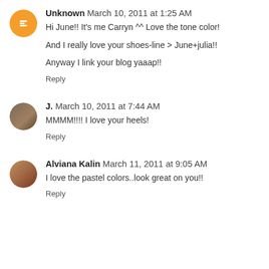Unknown  March 10, 2011 at 1:25 AM
Hi June!! It's me Carryn ^^ Love the tone color!

And I really love your shoes-line > June+julia!!

Anyway I link your blog yaaap!!
Reply
J.  March 10, 2011 at 7:44 AM
MMMM!!!! I love your heels!
Reply
Alviana Kalin  March 11, 2011 at 9:05 AM
I love the pastel colors..look great on you!!
Reply